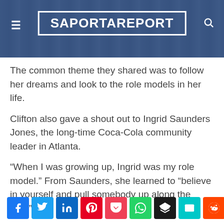SaportaReport
The common theme they shared was to follow her dreams and look to the role models in her life.
Clifton also gave a shout out to Ingrid Saunders Jones, the long-time Coca-Cola community leader in Atlanta.
“When I was growing up, Ingrid was my role model.” From Saunders, she learned to “believe in yourself and pull somebody up along the way.”